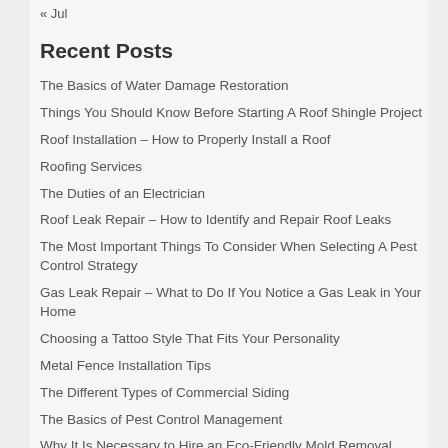« Jul
Recent Posts
The Basics of Water Damage Restoration
Things You Should Know Before Starting A Roof Shingle Project
Roof Installation – How to Properly Install a Roof
Roofing Services
The Duties of an Electrician
Roof Leak Repair – How to Identify and Repair Roof Leaks
The Most Important Things To Consider When Selecting A Pest Control Strategy
Gas Leak Repair – What to Do If You Notice a Gas Leak in Your Home
Choosing a Tattoo Style That Fits Your Personality
Metal Fence Installation Tips
The Different Types of Commercial Siding
The Basics of Pest Control Management
Why It Is Necessary to Hire an Eco-Friendly Mold Removal